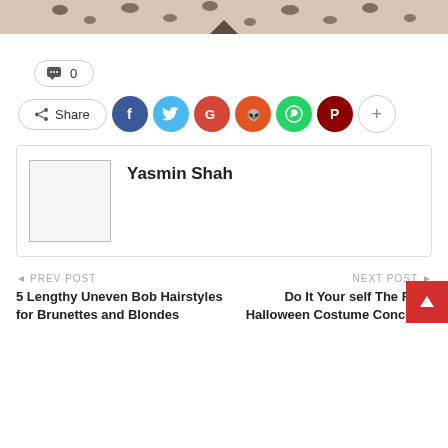[Figure (photo): Top portion of a person wearing a floral patterned top (pink/white with black floral print), cropped at the neck/shoulder area]
💬  0
Share (social icons: Facebook, Twitter, Google, Reddit, WhatsApp, Pinterest, More)
Yasmin Shah
← PREV POST
5 Lengthy Uneven Bob Hairstyles for Brunettes and Blondes
NEXT POST →
Do It Your self The Fin... Halloween Costume Concepts